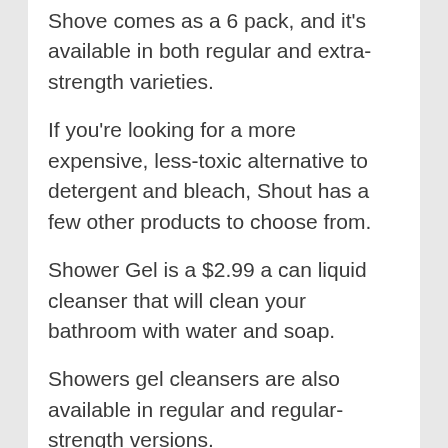Shove comes as a 6 pack, and it's available in both regular and extra-strength varieties.
If you're looking for a more expensive, less-toxic alternative to detergent and bleach, Shout has a few other products to choose from.
Shower Gel is a $2.99 a can liquid cleanser that will clean your bathroom with water and soap.
Showers gel cleansers are also available in regular and regular-strength versions.
Lemon Shower is a super soft and gentle shampoo that uses lemon juice as a base to soften the shampoo to make it a gentle, yet effective wash.
Shampoo is also available as a spray or a gel.